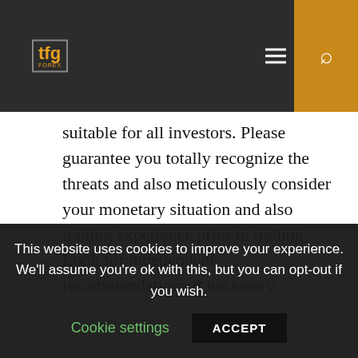TFG logo, navigation menu, search button
suitable for all investors. Please guarantee you totally recognize the threats and also meticulously consider your monetary situation and also trading experience prior to trading. Look for independent recommendations if necessary.
[Figure (screenshot): Forex ticker widget showing GBP/USD -0.0006, 1.1811, -0.05%; EUR/USD -0.0016, 1.0020, -0.16%; CAD partial 0.768 with mini area charts]
This website uses cookies to improve your experience. We'll assume you're ok with this, but you can opt-out if you wish. Cookie settings ACCEPT